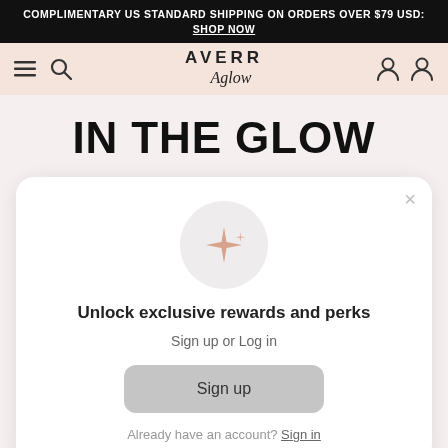COMPLIMENTARY US STANDARD SHIPPING ON ORDERS OVER $79 USD: SHOP NOW
[Figure (screenshot): Averr Aglow navigation bar with hamburger menu, search icon, logo, and user account icons on a pink/peach background]
IN THE GLOW
[Figure (infographic): Modal popup with sparkle icon in grey circle, heading 'Unlock exclusive rewards and perks', subtext 'Sign up or Log in', a Sign up button, and 'Already have an account? Sign in' link. Close X button in top right.]
Skin Tones